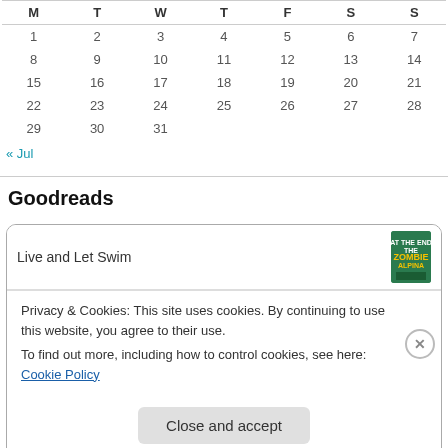| M | T | W | T | F | S | S |
| --- | --- | --- | --- | --- | --- | --- |
| 1 | 2 | 3 | 4 | 5 | 6 | 7 |
| 8 | 9 | 10 | 11 | 12 | 13 | 14 |
| 15 | 16 | 17 | 18 | 19 | 20 | 21 |
| 22 | 23 | 24 | 25 | 26 | 27 | 28 |
| 29 | 30 | 31 |  |  |  |  |
« Jul
Goodreads
Live and Let Swim
Privacy & Cookies: This site uses cookies. By continuing to use this website, you agree to their use.
To find out more, including how to control cookies, see here: Cookie Policy
Close and accept